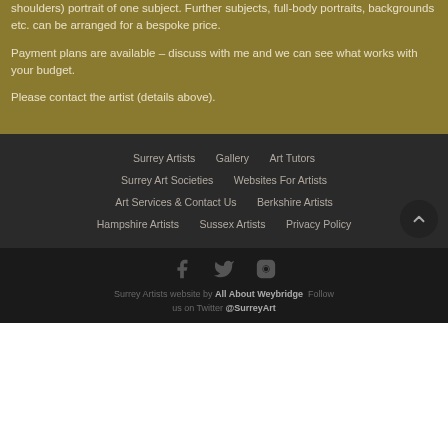shoulders) portrait of one subject. Further subjects, full-body portraits, backgrounds etc. can be arranged for a bespoke price.
Payment plans are available – discuss with me and we can see what works with your budget.
Please contact the artist (details above).
Surrey Artists | Gallery | Art Tutors | Surrey Art Societies | Websites For Artists | Art Services & Contact Us | Berkshire Artists | Hampshire Artists | Sussex Artists | Privacy Policy
Surrey Artists website by All About Weybridge Follow us on Twitter @SurreyArt